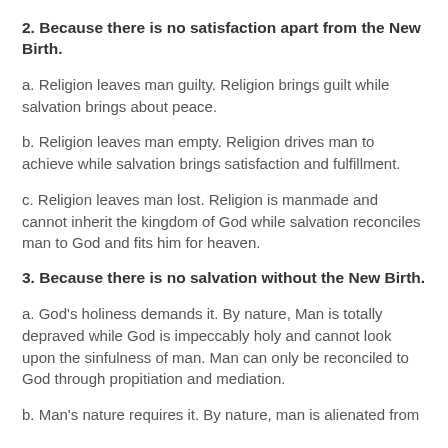2. Because there is no satisfaction apart from the New Birth.
a. Religion leaves man guilty. Religion brings guilt while salvation brings about peace.
b. Religion leaves man empty. Religion drives man to achieve while salvation brings satisfaction and fulfillment.
c. Religion leaves man lost. Religion is manmade and cannot inherit the kingdom of God while salvation reconciles man to God and fits him for heaven.
3. Because there is no salvation without the New Birth.
a. God's holiness demands it. By nature, Man is totally depraved while God is impeccably holy and cannot look upon the sinfulness of man. Man can only be reconciled to God through propitiation and mediation.
b. Man's nature requires it. By nature, man is alienated from